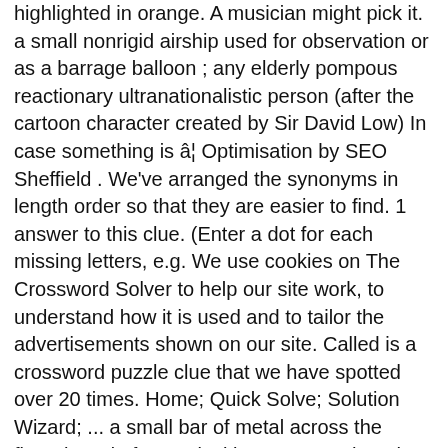highlighted in orange. A musician might pick it. a small nonrigid airship used for observation or as a barrage balloon ; any elderly pompous reactionary ultranationalistic person (after the cartoon character created by Sir David Low) In case something is â¦ Optimisation by SEO Sheffield . We've arranged the synonyms in length order so that they are easier to find. 1 answer to this clue. (Enter a dot for each missing letters, e.g. We use cookies on The Crossword Solver to help our site work, to understand how it is used and to tailor the advertisements shown on our site. Called is a crossword puzzle clue that we have spotted over 20 times. Home; Quick Solve; Solution Wizard; ... a small bar of metal across the fingerboard of a musical instrument; when the string is stopped by a â¦ Clue Answer; Hawaiian guitar (7) UKELELE; Hawaiian guitar (7) UKULELE; Four-stringed guitar (7) Lute family member (7) Small guitar (7) It's played close to the chest (7) Hawaiian instrument (7) Small type of guitar (7) (Enter a dot for each missing letters, e.g. Thanks god you are in the right site! Many other players have had difficulties with